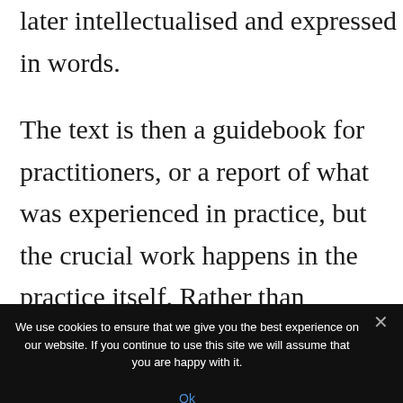later intellectualised and expressed in words.

The text is then a guidebook for practitioners, or a report of what was experienced in practice, but the crucial work happens in the practice itself. Rather than searching only for its moves or inner logic, or to
We use cookies to ensure that we give you the best experience on our website. If you continue to use this site we will assume that you are happy with it.
Ok